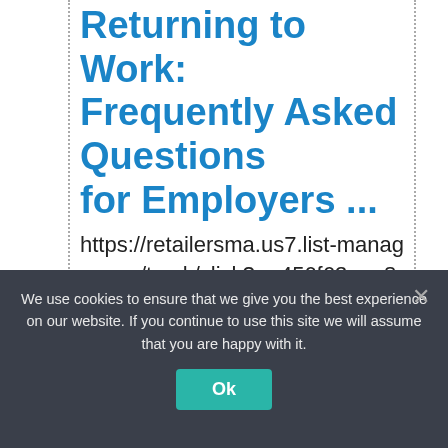Returning to Work: Frequently Asked Questions for Employers ...
https://retailersma.us7.list-manage.com/track/click?u=456f63aee8ae3e59e69eeeb2e&id=327ccb8003&e=59be78eb8c
Find answers to questions about Unemployment Insurance (UI) for
We use cookies to ensure that we give you the best experience on our website. If you continue to use this site we will assume that you are happy with it.